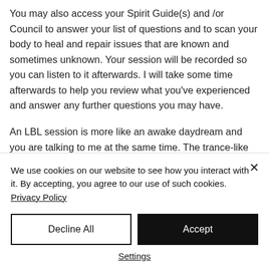You may also access your Spirit Guide(s) and /or Council to answer your list of questions and to scan your body to heal and repair issues that are known and sometimes unknown. Your session will be recorded so you can listen to it afterwards. I will take some time afterwards to help you review what you've experienced and answer any further questions you may have.
An LBL session is more like an awake daydream and you are talking to me at the same time. The trance-like feelings you experience while driving, reading a book...
We use cookies on our website to see how you interact with it. By accepting, you agree to our use of such cookies. Privacy Policy